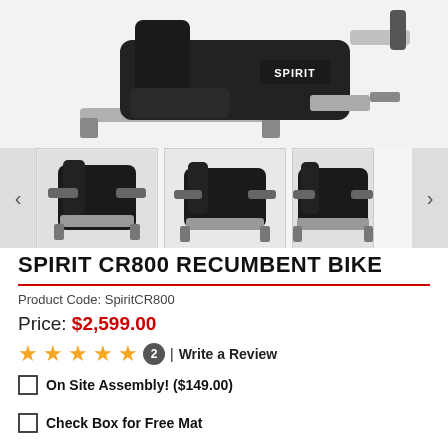[Figure (photo): Top portion of a Spirit CR800 recumbent exercise bike, showing the seat and frame area with SPIRIT branding, silver/black color scheme, cropped from above.]
[Figure (photo): Thumbnail gallery strip showing three images of the Spirit CR800 recumbent bike from different angles, with left and right navigation arrows.]
SPIRIT CR800 RECUMBENT BIKE
Product Code: SpiritCR800
Price: $2,599.00
★★★★★ 2 | Write a Review
On Site Assembly! ($149.00)
Check Box for Free Mat